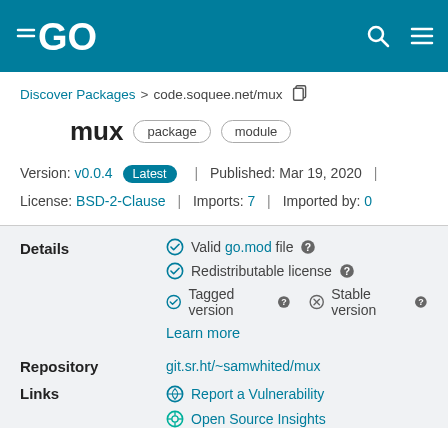Go (golang) package discovery - pkg.go.dev
Discover Packages > code.soquee.net/mux
mux package module
Version: v0.0.4 Latest | Published: Mar 19, 2020 | License: BSD-2-Clause | Imports: 7 | Imported by: 0
Details
Valid go.mod file
Redistributable license
Tagged version | Stable version
Learn more
Repository
git.sr.ht/~samwhited/mux
Links
Report a Vulnerability
Open Source Insights